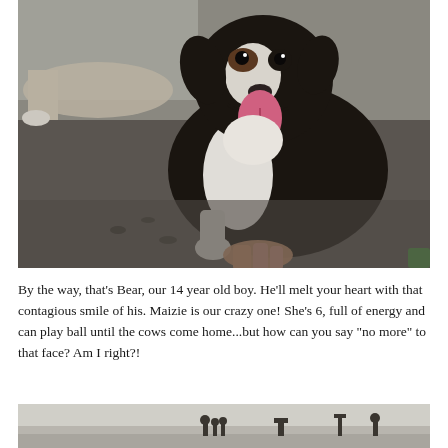[Figure (photo): A black and white Border Collie dog sitting on dark sand at a beach, smiling with mouth open and tongue out. Another dog is partially visible in the upper left. A person's hand touches the dog. Green object visible at bottom right.]
By the way, that's Bear, our 14 year old boy. He'll melt your heart with that contagious smile of his. Maizie is our crazy one! She's 6, full of energy and can play ball until the cows come home...but how can you say "no more" to that face? Am I right?!
[Figure (photo): A wide beach scene at dusk or dawn with silhouetted figures of people on the beach against a pale sky.]